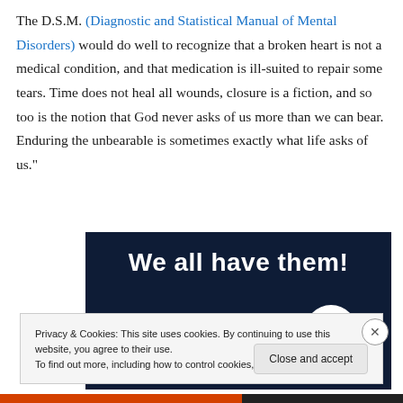The D.S.M. (Diagnostic and Statistical Manual of Mental Disorders) would do well to recognize that a broken heart is not a medical condition, and that medication is ill-suited to repair some tears. Time does not heal all wounds, closure is a fiction, and so too is the notion that God never asks of us more than we can bear. Enduring the unbearable is sometimes exactly what life asks of us."
[Figure (illustration): Dark navy blue image background with bold white text reading 'We all have them!' with a pink horizontal bar at lower left and a white circle at lower right.]
Privacy & Cookies: This site uses cookies. By continuing to use this website, you agree to their use.
To find out more, including how to control cookies, see here: Cookie Policy